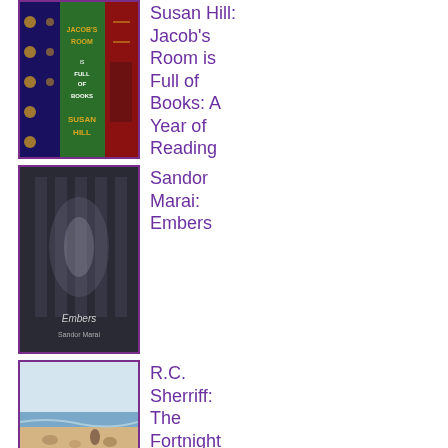[Figure (photo): Book cover of Susan Hill: Jacob's Room is Full of Books]
Susan Hill: Jacob's Room is Full of Books: A Year of Reading
[Figure (photo): Book cover of Sandor Marai: Embers]
Sandor Marai: Embers
[Figure (photo): Book cover of R.C. Sherriff: The Fortnight in]
R.C. Sherriff: The Fortnight in